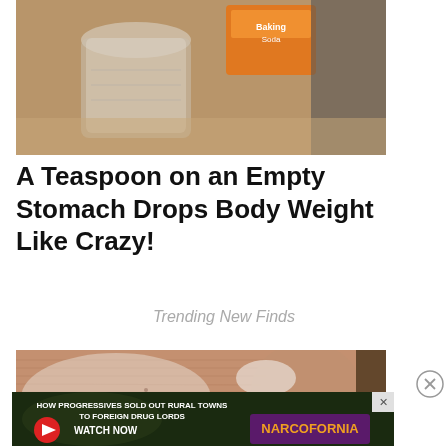[Figure (photo): Close-up photo of a glass jar and baking soda box on a surface]
A Teaspoon on an Empty Stomach Drops Body Weight Like Crazy!
Trending New Finds
[Figure (photo): Close-up photo of a person's nose and cheeks with a white cream or mask applied to the skin]
[Figure (photo): Advertisement banner: HOW PROGRESSIVES SOLD OUT RURAL TOWNS TO FOREIGN DRUG LORDS - NARCOFORNIA - WATCH NOW]